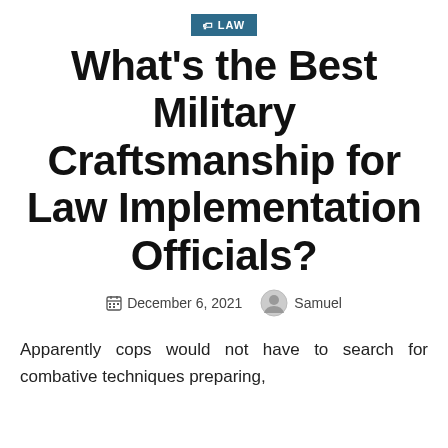LAW
What's the Best Military Craftsmanship for Law Implementation Officials?
December 6, 2021   Samuel
Apparently cops would not have to search for combative techniques preparing,